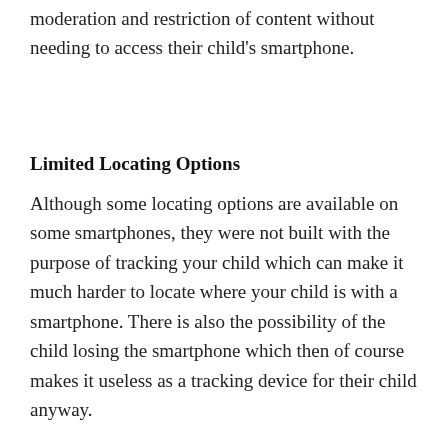moderation and restriction of content without needing to access their child's smartphone.
Limited Locating Options
Although some locating options are available on some smartphones, they were not built with the purpose of tracking your child which can make it much harder to locate where your child is with a smartphone. There is also the possibility of the child losing the smartphone which then of course makes it useless as a tracking device for their child anyway.